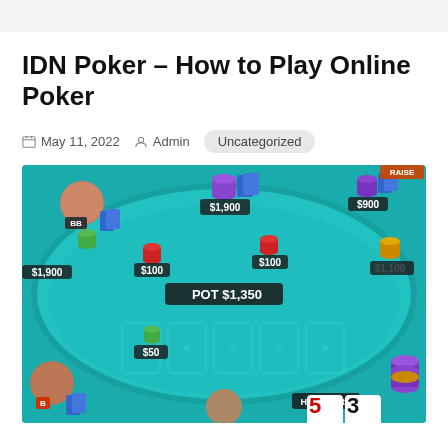IDN Poker – How to Play Online Poker
May 11, 2022  Admin  Uncategorized
[Figure (screenshot): Online poker game screenshot showing a poker table with chip stacks, pot of $1,350, player balances ($1,900, $100, $100, $900, $1,100, $50), HIGH CARD label, and cards showing 5 and 3 of spades.]